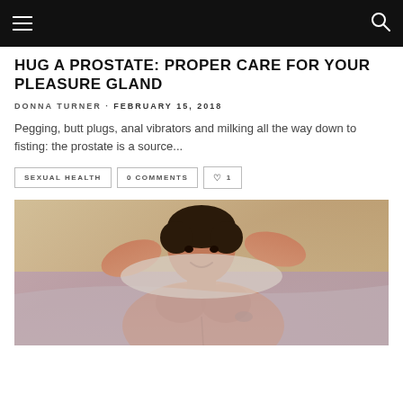Navigation bar with hamburger menu and search icon
HUG A PROSTATE: PROPER CARE FOR YOUR PLEASURE GLAND
DONNA TURNER · FEBRUARY 15, 2018
Pegging, butt plugs, anal vibrators and milking all the way down to fisting: the prostate is a source...
SEXUAL HEALTH
0 COMMENTS
♡ 1
[Figure (photo): Shirtless attractive man lying on bed with hands behind his head, smiling, partial torso visible]